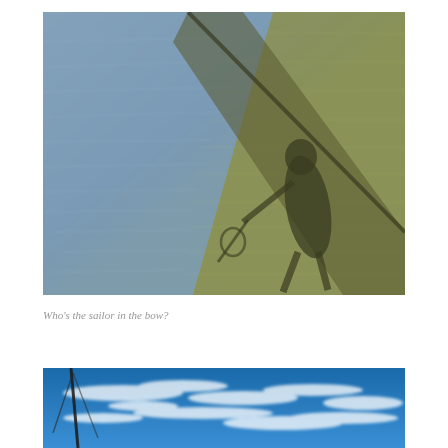[Figure (photo): Overhead view of water surface showing shadow of a person (sailor) standing at the bow of a boat, with a diagonal line dividing blue-grey water on the left and olive-green water on the right. The shadow shows a person holding something, possibly a fishing rod or pole.]
Who’s the sailor in the bow?
[Figure (photo): Blue sky with wispy white cirrus clouds and a dark mast or pole visible at lower left, taken from a boat looking upward.]